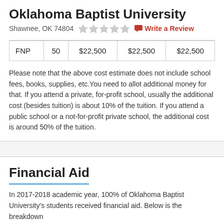Oklahoma Baptist University
Shawnee, OK 74804    ★☆☆☆☆    Write a Review
| FNP | 50 | $22,500 | $22,500 | $22,500 |
Please note that the above cost estimate does not include school fees, books, supplies, etc.You need to allot additional money for that. If you attend a private, for-profit school, usually the additional cost (besides tuition) is about 10% of the tuition. If you attend a public school or a not-for-profit private school, the additional cost is around 50% of the tuition.
Financial Aid
In 2017-2018 academic year, 100% of Oklahoma Baptist University's students received financial aid. Below is the breakdown